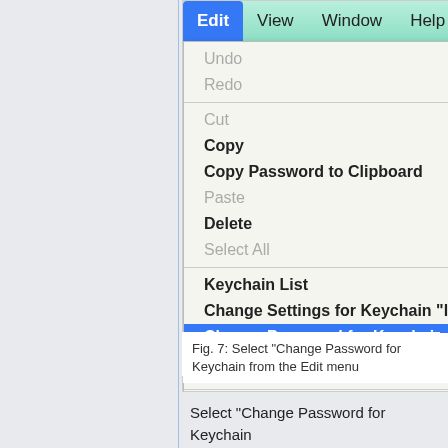[Figure (screenshot): macOS menu bar screenshot showing the Edit menu open with options: Undo (grayed), Redo (grayed), Cut (grayed), Copy, Copy Password to Clipboard, Paste (grayed), Delete, Select All (grayed), Keychain List, Change Settings for Keychain 'login', Change Password for Keychain 'log...' (highlighted in blue), Find, Start Dictation..., Special Characters...]
Fig. 7: Select "Change Password for Keychain from the Edit menu
Select "Change Password for Keychain